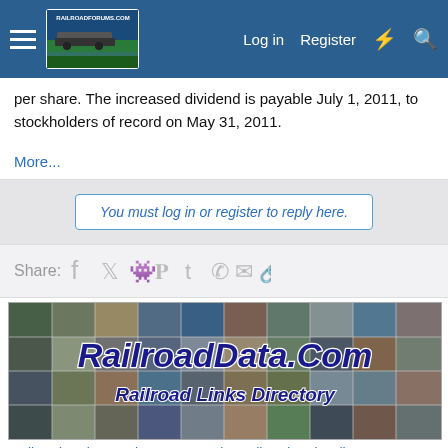RailroadForums.com — Log in | Register
per share. The increased dividend is payable July 1, 2011, to stockholders of record on May 31, 2011.
More...
You must log in or register to reply here.
Share:
[Figure (illustration): RailroadData.Com banner advertisement showing a collage of railroad-related images with text 'RailroadData.Com' and 'Railroad Links Directory']
Railroad Webcam Directory - Tourist Railroad and Railway